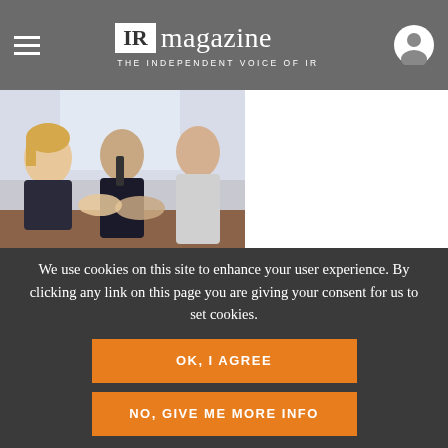IR magazine — THE INDEPENDENT VOICE OF IR
[Figure (photo): Business meeting photo: three professionals shaking hands at a table, two men and one woman smiling]
We use cookies on this site to enhance your user experience. By clicking any link on this page you are giving your consent for us to set cookies.
OK, I AGREE
NO, GIVE ME MORE INFO